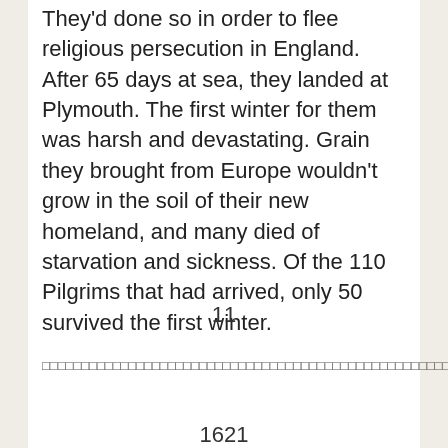They'd done so in order to flee religious persecution in England. After 65 days at sea, they landed at Plymouth. The first winter for them was harsh and devastating. Grain they brought from Europe wouldn't grow in the soil of their new homeland, and many died of starvation and sickness. Of the 110 Pilgrims that had arrived, only 50 survived the first winter.
11
□□□□□□□□□□□□□□□□□□□□□□□□□□□□□□□□□□□□□□□□□□□□□□□□□□□□□□□□□□□□□□□□□□□□□□□□□□□□□□□□□□□□□□□□□□□□□□□□□□□□□□
1621